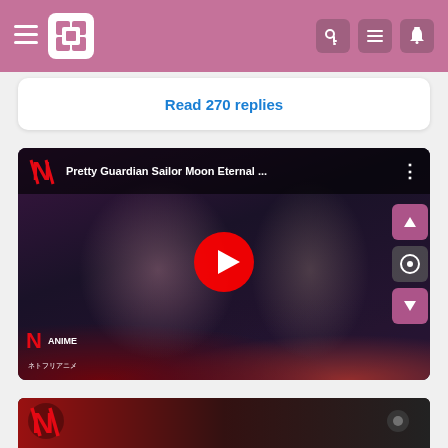Navigation bar with hamburger menu, logo, and icons
Read 270 replies
[Figure (screenshot): YouTube video thumbnail for 'Pretty Guardian Sailor Moon Eternal ...' on Netflix Anime channel, showing anime characters with a red play button overlay. Navigation arrow buttons on right side.]
[Figure (screenshot): Partial bottom preview of another Netflix video thumbnail]